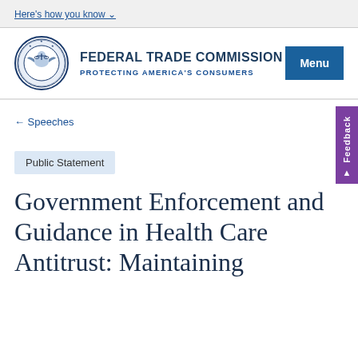Here's how you know
[Figure (logo): Federal Trade Commission seal with scales of justice and eagle emblem]
FEDERAL TRADE COMMISSION
PROTECTING AMERICA'S CONSUMERS
Menu
← Speeches
Feedback
Public Statement
Government Enforcement and Guidance in Health Care Antitrust: Maintaining